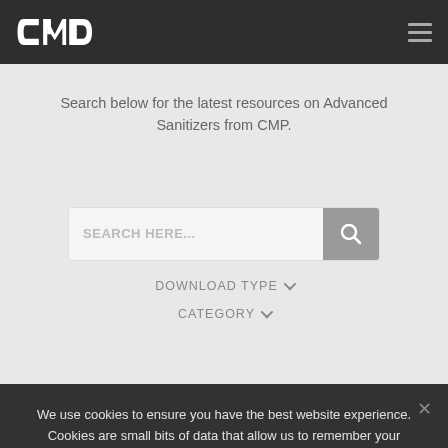CMP logo and navigation menu
Search below for the latest resources on Advanced Sanitizers from CMP.
[Figure (screenshot): Search input box with placeholder text 'SEARCH HERE...' and a grey search button with magnifying glass icon]
DOWNLOAD TYPE
CATEGORY
We use cookies to ensure you have the best website experience. Cookies are small bits of data that allow us to remember your preferences and remember your favorite items.
OK
NO THANKS